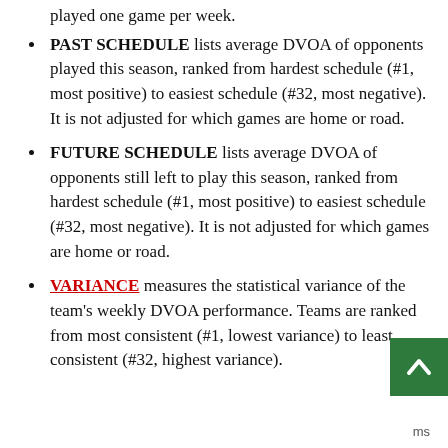played one game per week.
PAST SCHEDULE lists average DVOA of opponents played this season, ranked from hardest schedule (#1, most positive) to easiest schedule (#32, most negative). It is not adjusted for which games are home or road.
FUTURE SCHEDULE lists average DVOA of opponents still left to play this season, ranked from hardest schedule (#1, most positive) to easiest schedule (#32, most negative). It is not adjusted for which games are home or road.
VARIANCE measures the statistical variance of the team's weekly DVOA performance. Teams are ranked from most consistent (#1, lowest variance) to least consistent (#32, highest variance).
ms